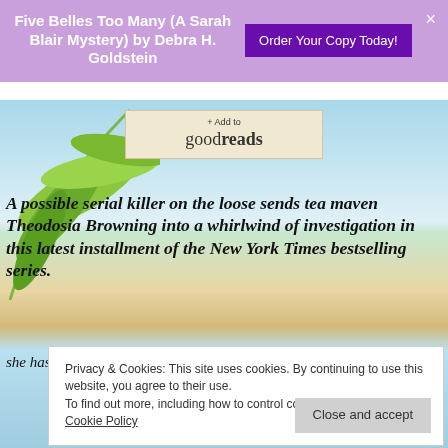Five Belles Too Many (A Sarah Blair Mystery) by Debra H. Goldstein
[Figure (illustration): Purple banner with book title and Order Your Copy Today! button and close X]
[Figure (illustration): Add to Goodreads badge on beach/tropical background with palm leaves]
A possible serial killer on the loose sends tea maven Theodosia Browning into a whirlwind of investigation in this latest installment of the New York Times bestselling series.
she has just witnessed a brutal murder and sees
Privacy & Cookies: This site uses cookies. By continuing to use this website, you agree to their use.
To find out more, including how to control cookies, see here:
Cookie Policy
Close and accept